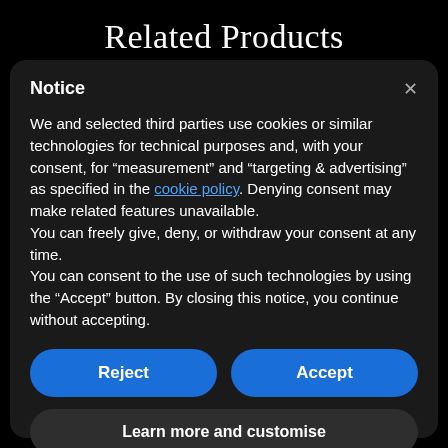Related Products
Notice
We and selected third parties use cookies or similar technologies for technical purposes and, with your consent, for “measurement” and “targeting & advertising” as specified in the cookie policy. Denying consent may make related features unavailable.
You can freely give, deny, or withdraw your consent at any time.
You can consent to the use of such technologies by using the “Accept” button. By closing this notice, you continue without accepting.
Reject
Accept
Learn more and customise